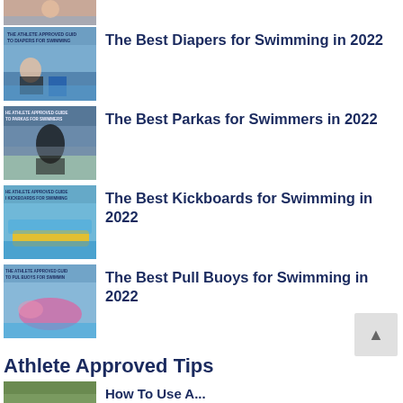[Figure (photo): Thumbnail image (partially visible) - swimming/beach scene at top]
The Best Diapers for Swimming in 2022
The Best Parkas for Swimmers in 2022
The Best Kickboards for Swimming in 2022
The Best Pull Buoys for Swimming in 2022
Athlete Approved Tips
How To... (partially visible)